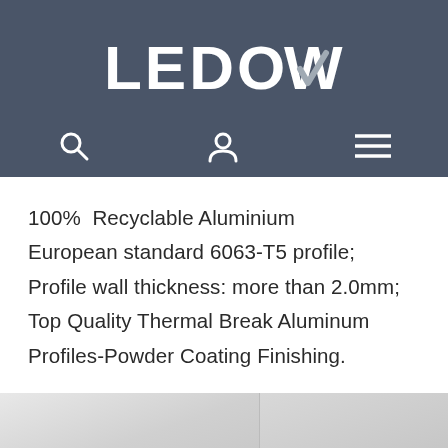LEDOW
[Figure (screenshot): Navigation bar with search icon, user icon, and hamburger menu icon on dark blue-grey background]
100%  Recyclable Aluminium European standard 6063-T5 profile; Profile wall thickness: more than 2.0mm; Top Quality Thermal Break Aluminum Profiles-Powder Coating Finishing.
[Figure (photo): Bottom portion of aluminium profile product photo, partially visible]